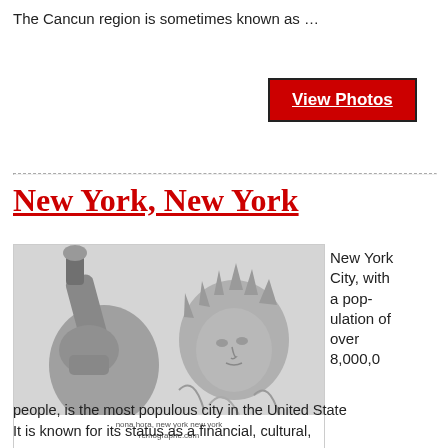The Cancun region is sometimes known as …
View Photos
New York, New York
[Figure (photo): Black and white photograph of the Statue of Liberty, showing the torch arm and face/crown in close-up. Caption reads: nona hora, new york new york / remographe.com]
New York City, with a population of over 8,000,0
people, is the most populous city in the United States. It is known for its status as a financial, cultural,